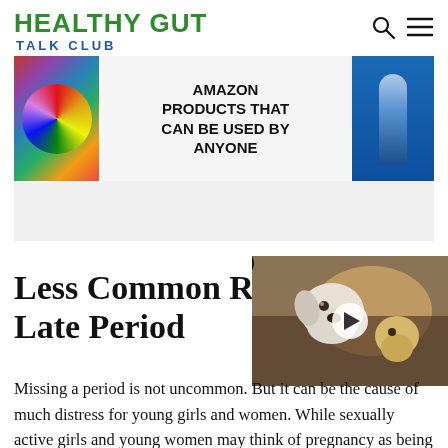HEALTHY GUT TALK CLUB
[Figure (screenshot): Advertisement banner showing colorful scrunchies on left, center text 'AMAZON PRODUCTS THAT CAN BE USED BY ANYONE', and an electric toothbrush on the right against a blue background.]
Less Common Reasons for a Late Period
[Figure (screenshot): Embedded video player showing a white dog and a yellow puppy lying on a bed, with a play button overlay. A close (X) button is visible in the top left of the video.]
Missing a period is not uncommon. But it can be the cause of much distress for young girls and women. While sexually active girls and young women may think of pregnancy as being a possible reason, older women may be concerned